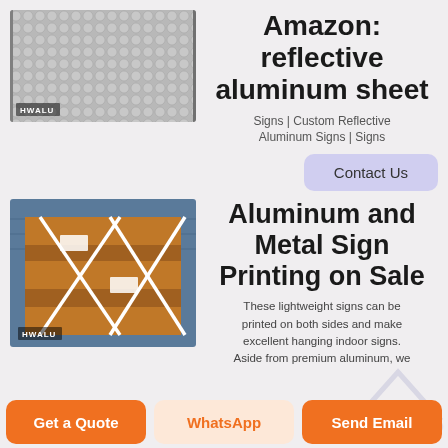[Figure (photo): Close-up photo of reflective aluminum sheet with circular dot pattern, HWALU branding label in bottom left]
Amazon: reflective aluminum sheet
Signs | Custom Reflective Aluminum Signs | Signs
Contact Us
[Figure (photo): Photo of wooden pallets/crates with white cross strapping bands inside a blue shipping container, HWALU branding label]
Aluminum and Metal Sign Printing on Sale
These lightweight signs can be printed on both sides and make excellent hanging indoor signs. Aside from premium aluminum, we
Get a Quote
WhatsApp
Send Email